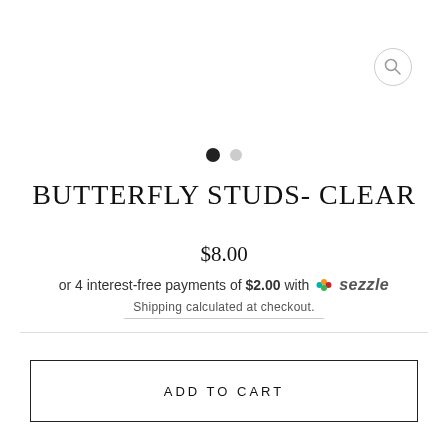[Figure (other): Search icon (magnifying glass) in a circle, top right corner]
[Figure (other): Image carousel navigation dots: one filled black dot and one grey dot]
BUTTERFLY STUDS- CLEAR
$8.00
or 4 interest-free payments of $2.00 with sezzle
Shipping calculated at checkout.
ADD TO CART